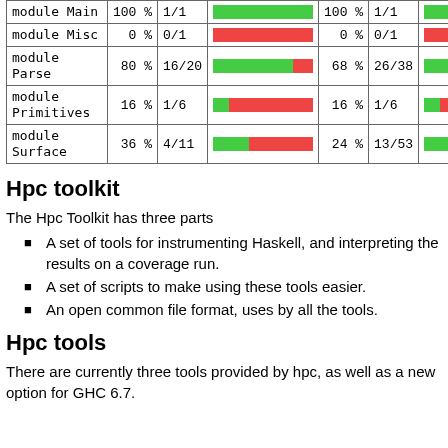| module | % | ratio | bar | % | ratio | bar |
| --- | --- | --- | --- | --- | --- | --- |
| module Main | 100 % | 1/1 | [green bar] | 100 % | 1/1 | [green bar] |
| module Misc | 0 % | 0/1 | [orange bar] | 0 % | 0/1 | [orange bar] |
| module Parse | 80 % | 16/20 | [green+orange bar] | 68 % | 26/38 | [green+orange bar] |
| module Primitives | 16 % | 1/6 | [small green+orange bar] | 16 % | 1/6 | [small green+orange bar] |
| module Surface | 36 % | 4/11 | [green+orange bar] | 24 % | 13/53 | [green+orange bar] |
Hpc toolkit
The Hpc Toolkit has three parts
A set of tools for instrumenting Haskell, and interpreting the results on a coverage run.
A set of scripts to make using these tools easier.
An open common file format, uses by all the tools.
Hpc tools
There are currently three tools provided by hpc, as well as a new option for GHC 6.7.